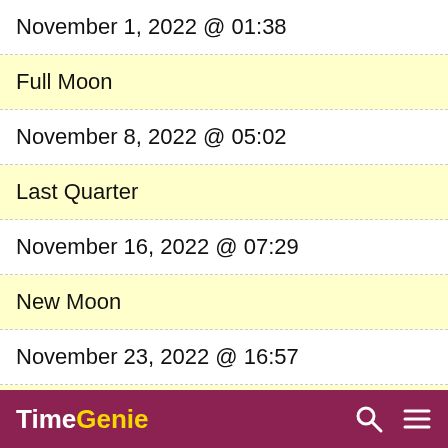November 1, 2022 @ 01:38
Full Moon
November 8, 2022 @ 05:02
Last Quarter
November 16, 2022 @ 07:29
New Moon
November 23, 2022 @ 16:57
First Quarter
November 30, 2022 @ 08:38
TimeGenie